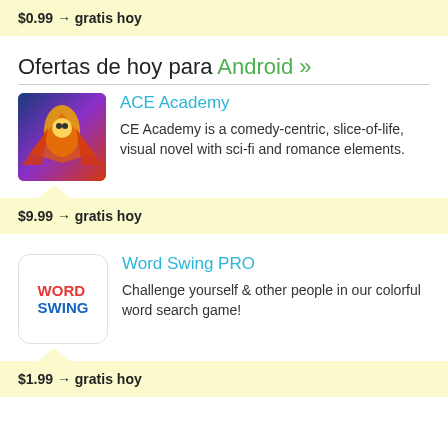$0.99 → gratis hoy
Ofertas de hoy para Android »
ACE Academy
CE Academy is a comedy-centric, slice-of-life, visual novel with sci-fi and romance elements.
$9.99 → gratis hoy
Word Swing PRO
Challenge yourself & other people in our colorful word search game!
$1.99 → gratis hoy